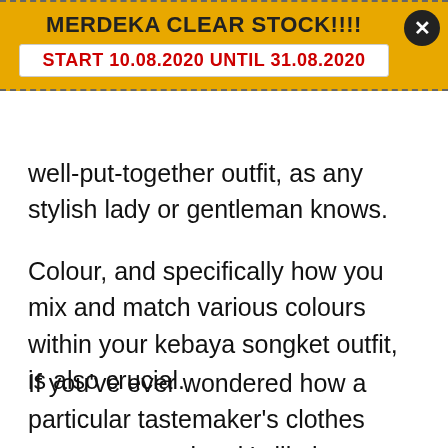MERDEKA CLEAR STOCK!!!! START 10.08.2020 UNTIL 31.08.2020
well-put-together outfit, as any stylish lady or gentleman knows.
Colour, and specifically how you mix and match various colours within your kebaya songket outfit, is also crucial.
If you've ever wondered how a particular tastemaker's clothes seem so amazing, it's likely because they focus on the aspect of style.